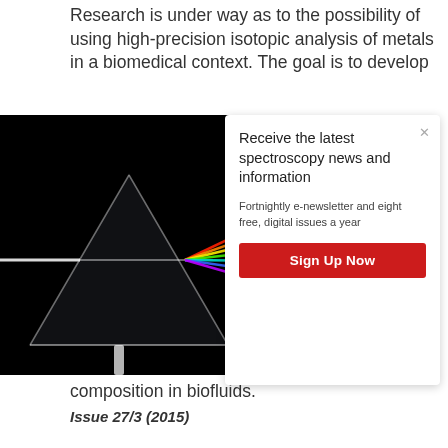Research is under way as to the possibility of using high-precision isotopic analysis of metals in a biomedical context. The goal is to develop
[Figure (photo): A glass prism dispersing white light into a rainbow spectrum against a black background]
Receive the latest spectroscopy news and information

Fortnightly e-newsletter and eight free, digital issues a year

[Sign Up Now button]
composition in biofluids.
Issue 27/3 (2015)
[Figure (photo): A laboratory instrument, blue/white device on a bench, with label (b)]
In vivo Raman spectroscopy of skin